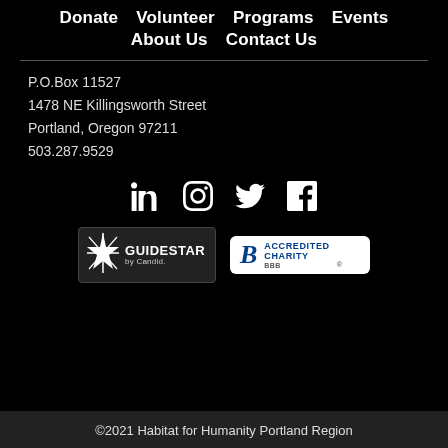Donate   Volunteer   Programs   Events   About Us   Contact Us
P.O.Box 11527
1478 NE Killingsworth Street
Portland, Oregon 97211
503.287.9529
[Figure (infographic): Social media icons: LinkedIn, Instagram, Twitter, Facebook]
[Figure (logo): GuideStar by Candid logo badge]
[Figure (logo): BBB Accredited Charity badge]
©2021 Habitat for Humanity Portland Region